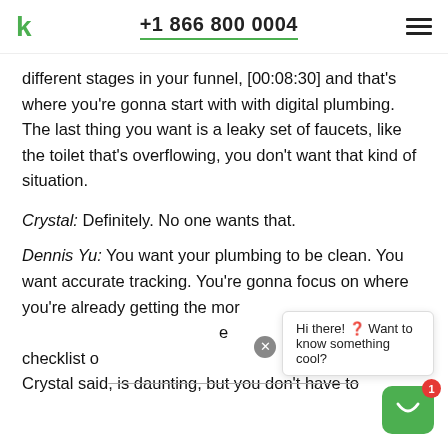+1 866 800 0004
different stages in your funnel, [00:08:30] and that's where you're gonna start with with digital plumbing. The last thing you want is a leaky set of faucets, like the toilet that's overflowing, you don't want that kind of situation.
Crystal: Definitely. No one wants that.
Dennis Yu: You want your plumbing to be clean. You want accurate tracking. You're gonna focus on where you're already getting the most... checklist o... Crystal said, is daunting, but you don't have to
Hi there! Want to know something cool?